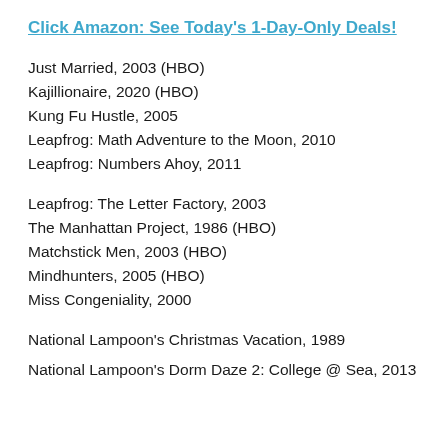Click Amazon: See Today's 1-Day-Only Deals!
Just Married, 2003 (HBO)
Kajillionaire, 2020 (HBO)
Kung Fu Hustle, 2005
Leapfrog: Math Adventure to the Moon, 2010
Leapfrog: Numbers Ahoy, 2011
Leapfrog: The Letter Factory, 2003
The Manhattan Project, 1986 (HBO)
Matchstick Men, 2003 (HBO)
Mindhunters, 2005 (HBO)
Miss Congeniality, 2000
National Lampoon's Christmas Vacation, 1989
National Lampoon's Dorm Daze 2: College @ Sea, 2013